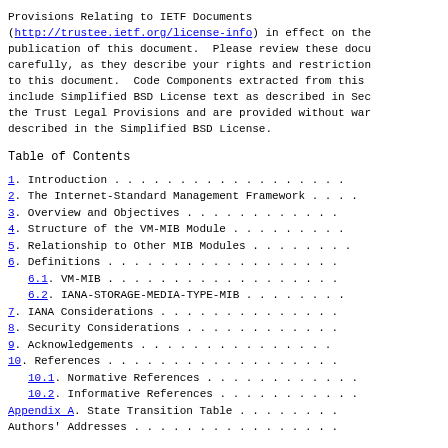Provisions Relating to IETF Documents (http://trustee.ietf.org/license-info) in effect on the publication of this document.  Please review these docu carefully, as they describe your rights and restriction to this document.  Code Components extracted from this include Simplified BSD License text as described in Sec the Trust Legal Provisions and are provided without war described in the Simplified BSD License.
Table of Contents
1.  Introduction . . . . . . . . . . . . . . . . . .
2.  The Internet-Standard Management Framework . . . .
3.  Overview and Objectives . . . . . . . . . . . .
4.  Structure of the VM-MIB Module . . . . . . . . .
5.  Relationship to Other MIB Modules . . . . . . . .
6.  Definitions . . . . . . . . . . . . . . . . . .
6.1.  VM-MIB . . . . . . . . . . . . . . . . . .
6.2.  IANA-STORAGE-MEDIA-TYPE-MIB . . . . . . . .
7.  IANA Considerations . . . . . . . . . . . . . .
8.  Security Considerations . . . . . . . . . . . .
9.  Acknowledgements . . . . . . . . . . . . . . .
10. References . . . . . . . . . . . . . . . . . .
10.1. Normative References . . . . . . . . . . . .
10.2. Informative References . . . . . . . . . . .
Appendix A.  State Transition Table . . . . . . . .
Authors' Addresses . . . . . . . . . . . . . . . .